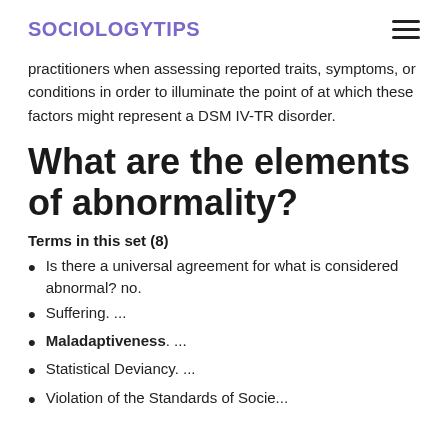SOCIOLOGYTIPS
practitioners when assessing reported traits, symptoms, or conditions in order to illuminate the point of at which these factors might represent a DSM IV-TR disorder.
What are the elements of abnormality?
Terms in this set (8)
Is there a universal agreement for what is considered abnormal? no.
Suffering. ...
Maladaptiveness. ...
Statistical Deviancy. ...
Violation of the Standards of Society...